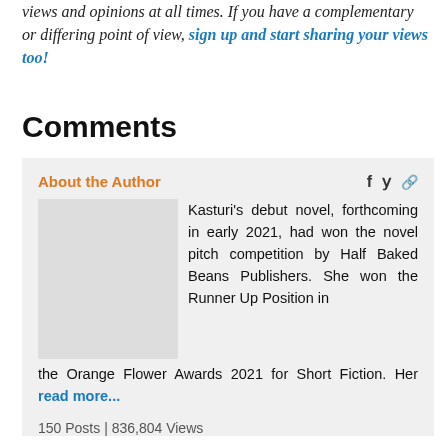views and opinions at all times. If you have a complementary or differing point of view, sign up and start sharing your views too!
Comments
About the Author
Kasturi’s debut novel, forthcoming in early 2021, had won the novel pitch competition by Half Baked Beans Publishers. She won the Runner Up Position in the Orange Flower Awards 2021 for Short Fiction. Her read more...
150 Posts | 836,804 Views